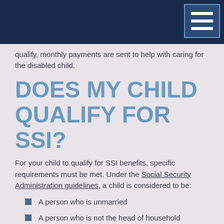qualify, monthly payments are sent to help with caring for the disabled child.
DOES MY CHILD QUALIFY FOR SSI?
For your child to qualify for SSI benefits, specific requirements must be met. Under the Social Security Administration guidelines, a child is considered to be:
A person who is unmarried
A person who is not the head of household
A person who is under the age of 18, or
A person who is under the age of 22 and is a student who regularly attends school
For the child to qualify for SSI benefits, they must be either